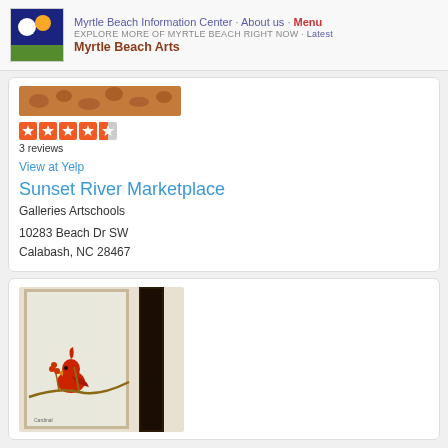Myrtle Beach Information Center · About us · Menu
EXPLORE MORE OF MYRTLE BEACH RIGHT NOW · Latest
Myrtle Beach Arts
[Figure (photo): Partial view of a textured/patterned image (top of a listing card), brownish tones with leopard-like pattern]
[Figure (infographic): Yelp star rating: 4.5 stars out of 5, 5 star icons shown]
3 reviews
View at Yelp
Sunset River Marketplace
Galleries Artschools
10283 Beach Dr SW
Calabash, NC 28467
[Figure (photo): Framed artwork of a red cardinal bird on branches, hung on a wall next to a dark wooden frame]